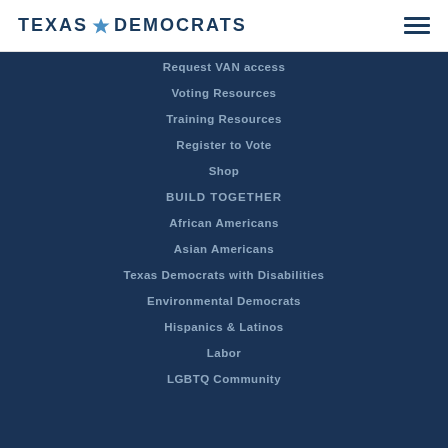TEXAS DEMOCRATS
Request VAN access
Voting Resources
Training Resources
Register to Vote
Shop
BUILD TOGETHER
African Americans
Asian Americans
Texas Democrats with Disabilities
Environmental Democrats
Hispanics & Latinos
Labor
LGBTQ Community